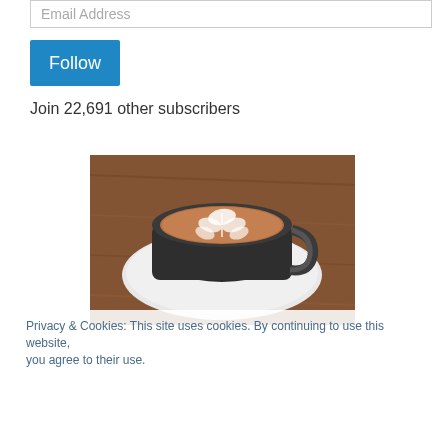Email Address
Follow
Join 22,691 other subscribers
[Figure (photo): Overhead view of a latte coffee cup on a white saucer with heart/leaf latte art on a wooden table background]
Privacy & Cookies: This site uses cookies. By continuing to use this website, you agree to their use.